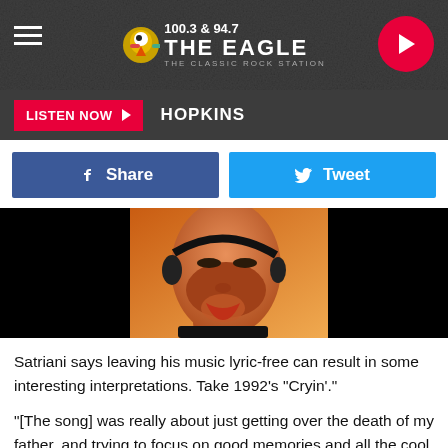100.3 & 94.7 THE EAGLE — THE CLASSIC ROCK STATION
LISTEN NOW  HOPKINS
[Figure (screenshot): Facebook Share button (blue) and Twitter Tweet button (cyan/light blue) side by side]
[Figure (illustration): Illustrated portrait of a person (Joe Satriani album art style) with stylized face, orange/warm tones, against black background]
Satriani says leaving his music lyric-free can result in some interesting interpretations. Take 1992's “Cryin’.”
“[The song] was really about just getting over the death of my father, and trying to focus on good memories and all the cool things he taught us,” he notes. “Out on the Extremist tour, promoting that song and the other songs on that album, we